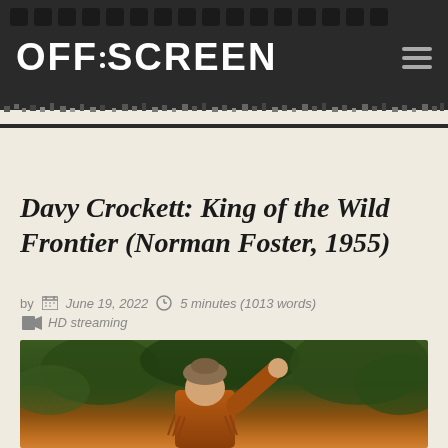[Figure (screenshot): OFF|SCREEN website header with film strip holes along the top, dark background logo area with hamburger menu icon, and pixelated border transition]
Davy Crockett: King of the Wild Frontier (Norman Foster, 1955)
by  June 19, 2022   5 minutes (1013 words)   HD streaming
[Figure (photo): Film still from Davy Crockett showing a man in a coonskin cap and frontier leather jacket with his arm raised, against a background of trees and foliage]